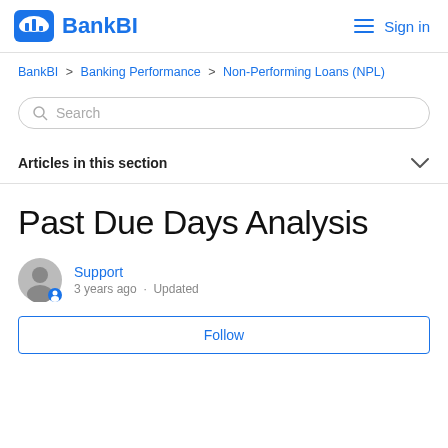BankBI  Sign in
BankBI > Banking Performance > Non-Performing Loans (NPL)
Search
Articles in this section
Past Due Days Analysis
Support
3 years ago · Updated
Follow